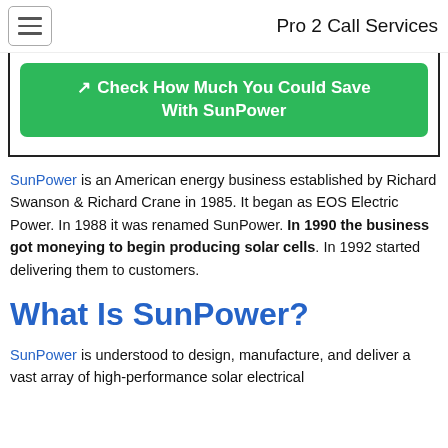Pro 2 Call Services
[Figure (other): Green CTA button with external link icon reading: Check How Much You Could Save With SunPower, inside a bordered box]
SunPower is an American energy business established by Richard Swanson & Richard Crane in 1985. It began as EOS Electric Power. In 1988 it was renamed SunPower. In 1990 the business got moneying to begin producing solar cells. In 1992 started delivering them to customers.
What Is SunPower?
SunPower is understood to design, manufacture, and deliver a vast array of high-performance solar electrical...